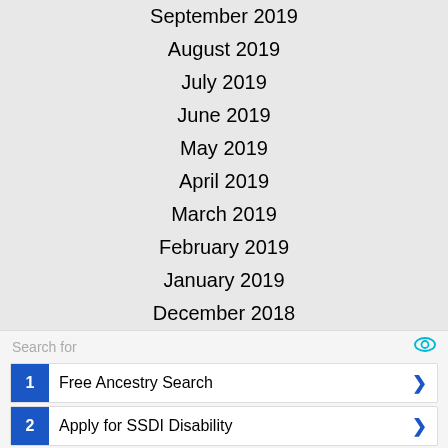September 2019
August 2019
July 2019
June 2019
May 2019
April 2019
March 2019
February 2019
January 2019
December 2018
November 2018
October 2018
Search for
1 Free Ancestry Search
2 Apply for SSDI Disability